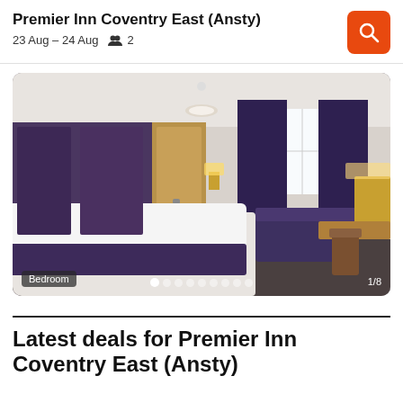Premier Inn Coventry East (Ansty)
23 Aug – 24 Aug  👥 2
[Figure (photo): Hotel bedroom photo showing a Premier Inn room with double bed with purple runner, purple curtains, window letting in light, sofa, and desk with chair. Navigation dots and '1/8' counter visible at bottom. 'Bedroom' label at bottom left.]
Latest deals for Premier Inn Coventry East (Ansty)